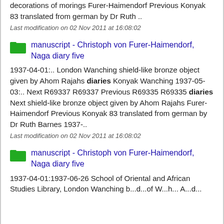decorations of morings Furer-Haimendorf Previous Konyak 83 translated from german by Dr Ruth ..
Last modification on 02 Nov 2011 at 16:08:02
manuscript - Christoph von Furer-Haimendorf, Naga diary five
1937-04-01:.. London Wanching shield-like bronze object given by Ahom Rajahs diaries Konyak Wanching 1937-05-03:.. Next R69337 R69337 Previous R69335 R69335 diaries Next shield-like bronze object given by Ahom Rajahs Furer-Haimendorf Previous Konyak 83 translated from german by Dr Ruth Barnes 1937-..
Last modification on 02 Nov 2011 at 16:08:02
manuscript - Christoph von Furer-Haimendorf, Naga diary five
1937-04-01:1937-06-26 School of Oriental and African Studies Library, London Wanching b...d...of W...h... A...d...